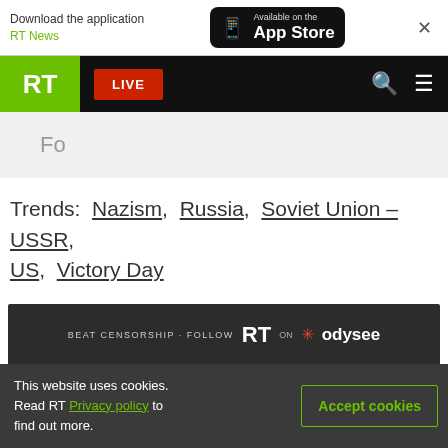Download the application RT News - Available on the App Store
[Figure (logo): RT news website navigation bar with green RT logo, red LIVE button, search icon and menu icon]
Fo
Trends: Nazism, Russia, Soviet Union – USSR, US, Victory Day
[Figure (infographic): Beat Censorship - Follow RT on Odysee advertisement banner]
This website uses cookies. Read RT Privacy policy to find out more.
Accept cookies